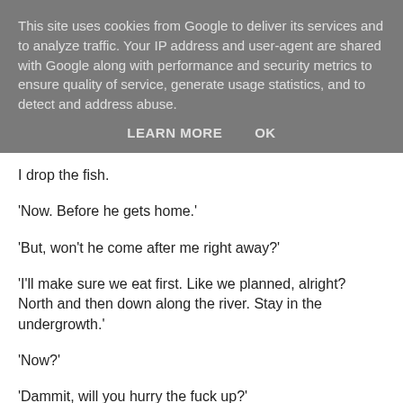This site uses cookies from Google to deliver its services and to analyze traffic. Your IP address and user-agent are shared with Google along with performance and security metrics to ensure quality of service, generate usage statistics, and to detect and address abuse.
LEARN MORE    OK
I drop the fish.
'Now. Before he gets home.'
'But, won't he come after me right away?'
'I'll make sure we eat first. Like we planned, alright? North and then down along the river. Stay in the undergrowth.'
'Now?'
'Dammit, will you hurry the fuck up?'